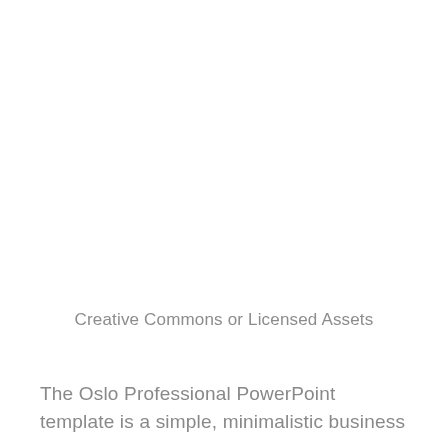Creative Commons or Licensed Assets
The Oslo Professional PowerPoint template is a simple, minimalistic business